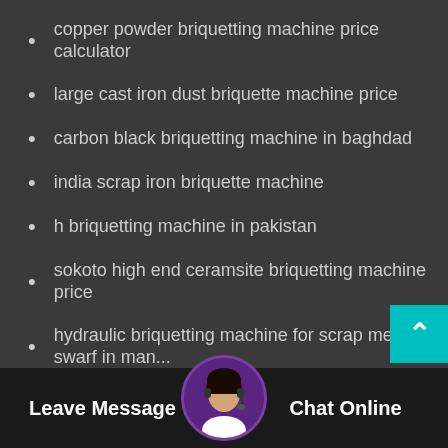copper powder briquetting machine price calculator
large cast iron dust briquette machine price
carbon black briquetting machine in baghdad
india scrap iron briquette machine
h briquetting machine in pakistan
sokoto high end ceramsite briquetting machine price
hydraulic briquetting machine for scrap metal swarf in man...
coal slime briquette press machine price in malaysia
high quality iron ore fines briquetting machine sell it at a b...
charred coal ball press machine for sale co. ltd
briquetting plant supplier ia zip code
refractory material ball press machine manufacturers
Leave Message   Chat Online